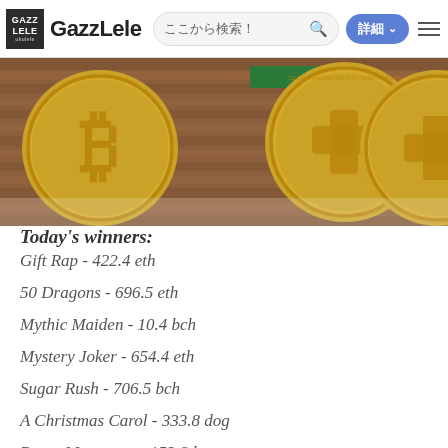GAZZLELE — ここから検索！ 詳細
[Figure (photo): Bitcoin gold coins banner image showing multiple Bitcoin coins]
Today's winners:
Gift Rap - 422.4 eth
50 Dragons - 696.5 eth
Mythic Maiden - 10.4 bch
Mystery Joker - 654.4 eth
Sugar Rush - 706.5 bch
A Christmas Carol - 333.8 dog
Brave Mongoose - 153.8 ltc